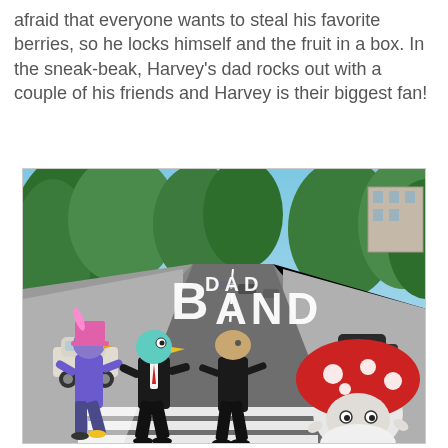afraid that everyone wants to steal his favorite berries, so he locks himself and the fruit in a box. In the sneak-beak, Harvey's dad rocks out with a couple of his friends and Harvey is their biggest fan!
[Figure (illustration): A parody of the Beatles Abbey Road album cover. Cartoon characters (from Harvey Birdman or similar animated show) are walking across a zebra crossing on a tree-lined road. The image has 'DAD BAND' text overlaid in large white bold letters. Characters include a figure with a pink top hat, a teal bird-like character, a brown-headed character, and a mushroom-capped character on the right.]